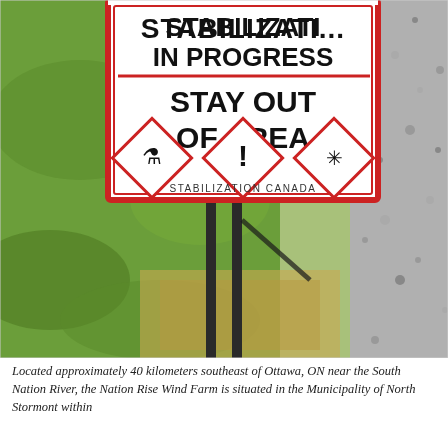[Figure (photo): Outdoor photo of a warning sign on a metal post reading 'STABILIZATION IN PROGRESS / STAY OUT OF AREA' with hazard diamond symbols and 'STABILIZATION CANADA' text. Green vegetation on the left, gravel path on the right.]
Located approximately 40 kilometers southeast of Ottawa, ON near the South Nation River, the Nation Rise Wind Farm is situated in the Municipality of North Stormont within